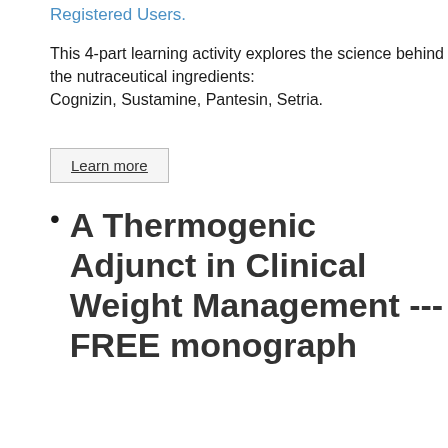Registered Users.
This 4-part learning activity explores the science behind the nutraceutical ingredients: Cognizin, Sustamine, Pantesin, Setria.
Learn more
A Thermogenic Adjunct in Clinical Weight Management --- FREE monograph